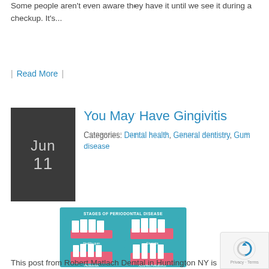Some people aren't even aware they have it until we see it during a checkup. It's...
| Read More |
[Figure (other): Dark grey square date block showing Jun 11]
You May Have Gingivitis
Categories: Dental health, General dentistry, Gum disease
[Figure (infographic): Stages of Periodontal Disease infographic showing 5 stages: Healthy gum, Gingivitis, Periodontitis, Advanced Periodontitis, Tooth loss with illustrated teeth and gums]
This post from Robert Matlach Dental in Huntington NY is